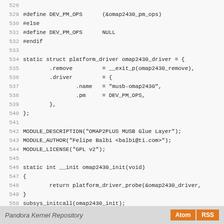Source code listing lines 528-556, including platform_driver struct definition and module init/exit functions for omap2430 MUSB driver
Pandora Kernel Repository | Atom | RSS